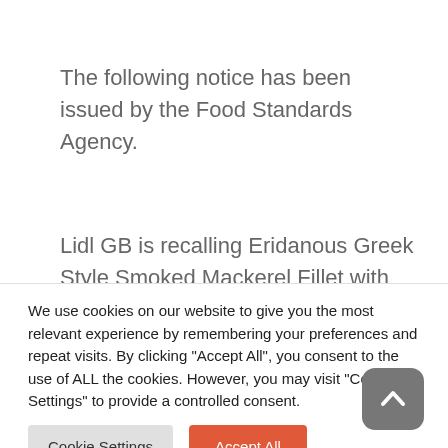The following notice has been issued by the Food Standards Agency.
Lidl GB is recalling Eridanous Greek Style Smoked Mackerel Fillet with Olives and Oregano with Soy Oil because Listeria
We use cookies on our website to give you the most relevant experience by remembering your preferences and repeat visits. By clicking "Accept All", you consent to the use of ALL the cookies. However, you may visit "Cookie Settings" to provide a controlled consent.
Cookie Settings
Accept All